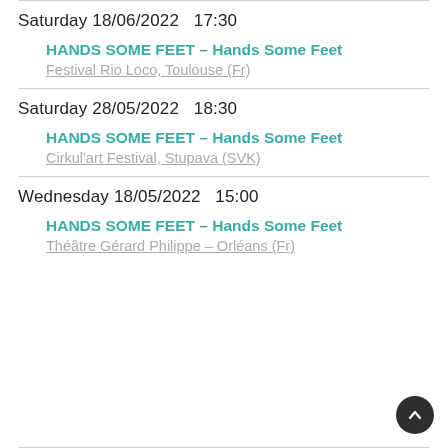Saturday 18/06/2022   17:30
HANDS SOME FEET – Hands Some Feet
Festival Rio Loco, Toulouse (Fr)
Saturday 28/05/2022   18:30
HANDS SOME FEET – Hands Some Feet
Cirkul'art Festival, Stupava (SVK)
Wednesday 18/05/2022   15:00
HANDS SOME FEET – Hands Some Feet
Théâtre Gérard Philippe – Orléans (Fr)